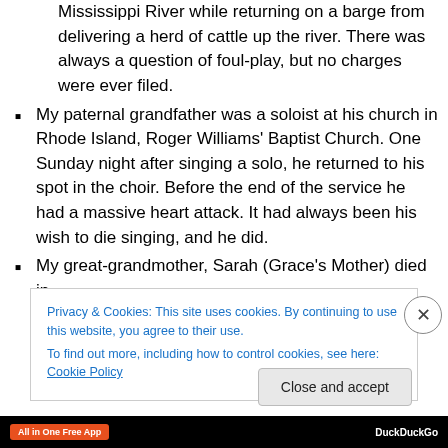Mississippi River while returning on a barge from delivering a herd of cattle up the river. There was always a question of foul-play, but no charges were ever filed.
My paternal grandfather was a soloist at his church in Rhode Island, Roger Williams' Baptist Church. One Sunday night after singing a solo, he returned to his spot in the choir. Before the end of the service he had a massive heart attack. It had always been his wish to die singing, and he did.
My great-grandmother, Sarah (Grace's Mother) died in
Privacy & Cookies: This site uses cookies. By continuing to use this website, you agree to their use. To find out more, including how to control cookies, see here: Cookie Policy